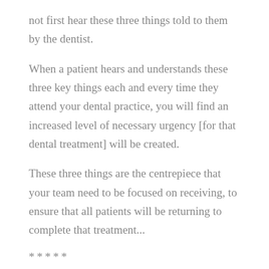not first hear these three things told to them by the dentist.
When a patient hears and understands these three key things each and every time they attend your dental practice, you will find an increased level of necessary urgency [for that dental treatment] will be created.
These three things are the centrepiece that your team need to be focused on receiving, to ensure that all patients will be returning to complete that treatment...
*****
Need your phones monitored?